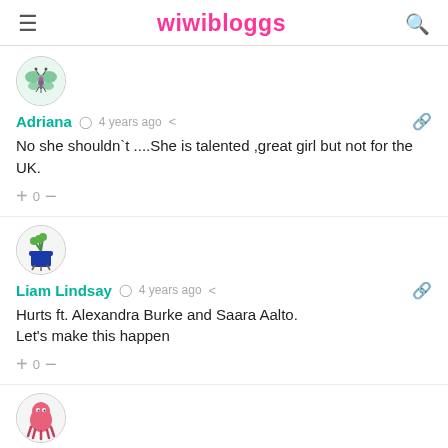wiwibloggs
[Figure (illustration): Cartoon butterfly avatar for user Adriana]
Adriana  4 years ago
No she shouldn`t ....She is talented ,great girl but not for the UK.
+0-
[Figure (illustration): Cartoon plant/flower pot avatar for user Liam Lindsay]
Liam Lindsay  4 years ago
Hurts ft. Alexandra Burke and Saara Aalto.
Let's make this happen
+0-
[Figure (illustration): Pink cartoon octopus/character avatar for user beccaboo1212]
beccaboo1212  4 years ago